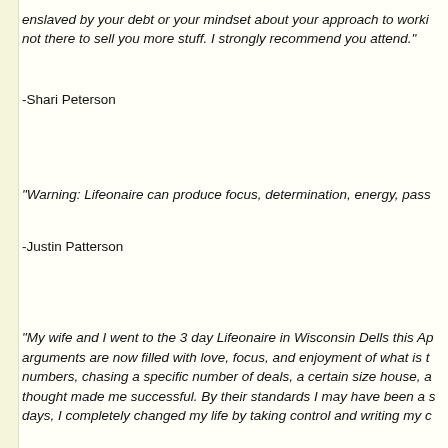enslaved by your debt or your mindset about your approach to working. They are not there to sell you more stuff. I strongly recommend you attend."
-Shari Peterson
“Warning: Lifeonaire can produce focus, determination, energy, pass...
-Justin Patterson
“My wife and I went to the 3 day Lifeonaire in Wisconsin Dells this Ap... arguments are now filled with love, focus, and enjoyment of what is t... numbers, chasing a specific number of deals, a certain size house, a... thought made me successful. By their standards I may have been a s... days, I completely changed my life by taking control and writing my c...